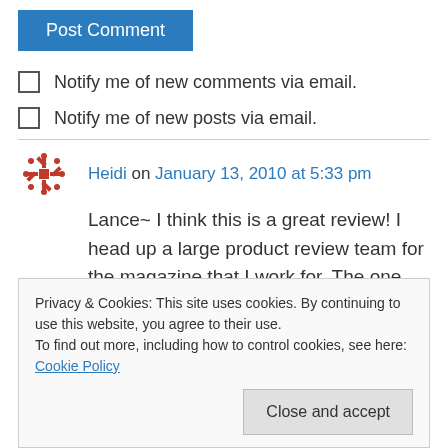Post Comment
Notify me of new comments via email.
Notify me of new posts via email.
Heidi on January 13, 2010 at 5:33 pm
Lance~ I think this is a great review! I head up a large product review team for the magazine that I work for. The one thing that I stress more than
Privacy & Cookies: This site uses cookies. By continuing to use this website, you agree to their use.
To find out more, including how to control cookies, see here: Cookie Policy
Close and accept